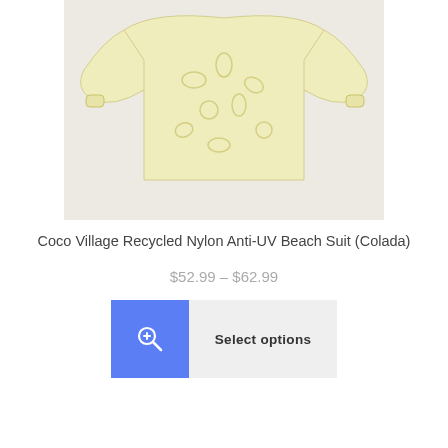[Figure (photo): A pale yellow long-sleeve children's beach suit/rash guard with a subtle fruit/vegetable print pattern, laid flat on a light beige background.]
Coco Village Recycled Nylon Anti-UV Beach Suit (Colada)
$52.99 – $62.99
[Figure (screenshot): Two buttons: a blue zoom icon button and a 'Select options' grey button.]